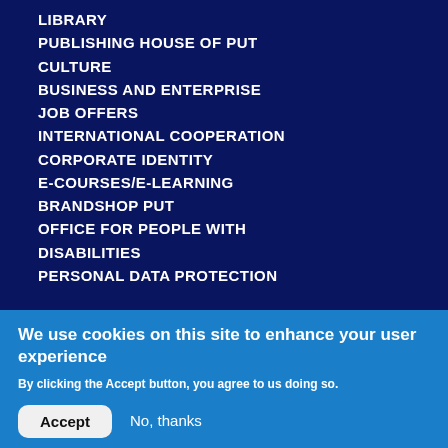LIBRARY
PUBLISHING HOUSE OF PUT
CULTURE
BUSINESS AND ENTERPRISE
JOB OFFERS
INTERNATIONAL COOPERATION
CORPORATE IDENTITY
E-COURSES/E-LEARNING
BRANDSHOP PUT
OFFICE FOR PEOPLE WITH DISABILITIES
PERSONAL DATA PROTECTION
[Figure (other): Social media icons: Facebook, Instagram, YouTube, LinkedIn, Twitter, YouTube]
We use cookies on this site to enhance your user experience
By clicking the Accept button, you agree to us doing so.
Accept   No, thanks